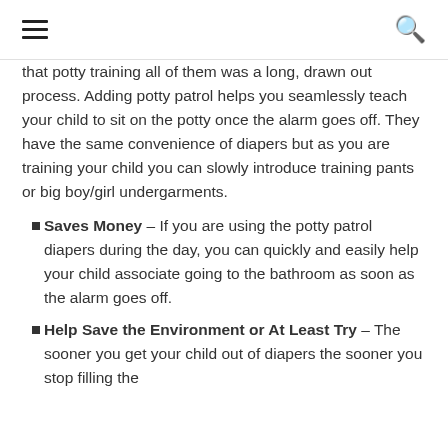≡  🔍
that potty training all of them was a long, drawn out process. Adding potty patrol helps you seamlessly teach your child to sit on the potty once the alarm goes off. They have the same convenience of diapers but as you are training your child you can slowly introduce training pants or big boy/girl undergarments.
Saves Money – If you are using the potty patrol diapers during the day, you can quickly and easily help your child associate going to the bathroom as soon as the alarm goes off.
Help Save the Environment or At Least Try – The sooner you get your child out of diapers the sooner you stop filling the